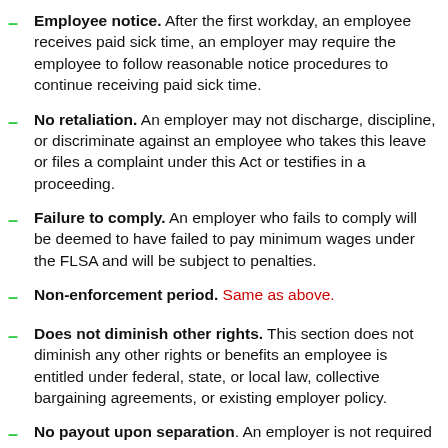Employee notice. After the first workday, an employee receives paid sick time, an employer may require the employee to follow reasonable notice procedures to continue receiving paid sick time.
No retaliation. An employer may not discharge, discipline, or discriminate against an employee who takes this leave or files a complaint under this Act or testifies in a proceeding.
Failure to comply. An employer who fails to comply will be deemed to have failed to pay minimum wages under the FLSA and will be subject to penalties.
Non-enforcement period. Same as above.
Does not diminish other rights. This section does not diminish any other rights or benefits an employee is entitled under federal, state, or local law, collective bargaining agreements, or existing employer policy.
No payout upon separation. An employer is not required